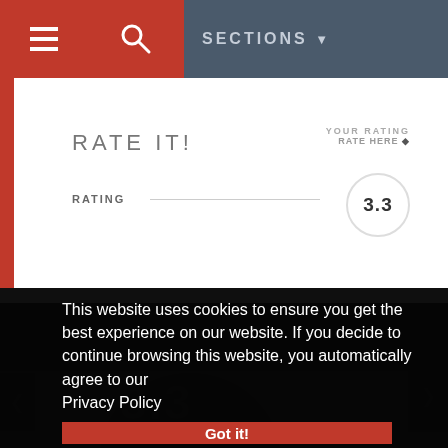SECTIONS ▼
RATE IT!
YOUR RATING
RATE HERE ◆
RATING   3.3
COMMUNITY RATING |
you liked or disliked this mod - please rate it!
This website uses cookies to ensure you get the best experience on our website. If you decide to continue browsing this website, you automatically agree to our Privacy Policy
Got it!
3.3